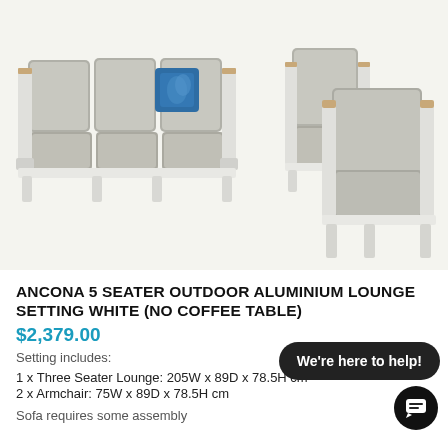[Figure (photo): Ancona 5 seater outdoor aluminium lounge setting in white with grey cushions — a three-seater sofa on the left and two armchairs on the right, photographed on a white/light background.]
ANCONA 5 SEATER OUTDOOR ALUMINIUM LOUNGE SETTING WHITE (NO COFFEE TABLE)
$2,379.00
Setting includes:
1 x Three Seater Lounge: 205W x 89D x 78.5H cm
2 x Armchair: 75W x 89D x 78.5H cm
Sofa requires some assembly